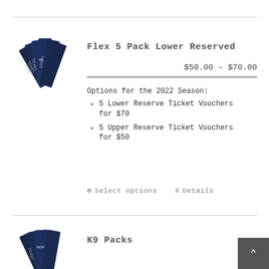[Figure (illustration): Fan of dark navy blue ticket stubs fanned out]
Flex 5 Pack Lower Reserved
$50.00 – $70.00
Options for the 2022 Season:
5 Lower Reserve Ticket Vouchers for $70
5 Upper Reserve Ticket Vouchers for $50
⚙ Select options   ≡ Details
[Figure (illustration): Fan of dark navy blue ticket stubs fanned out (partial, bottom of page)]
K9 Packs